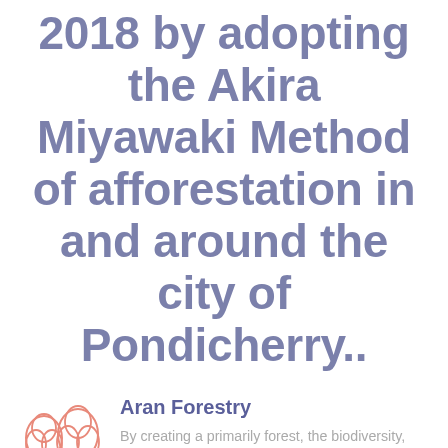2018 by adopting the Akira Miyawaki Method of afforestation in and around the city of Pondicherry..
[Figure (illustration): Pink/salmon colored illustrated icon of two large trees with detailed foliage and trunks]
Aran Forestry
By creating a primarily forest, the biodiversity, agro and social forestry also increases it as the quality of air and so the quality of life of